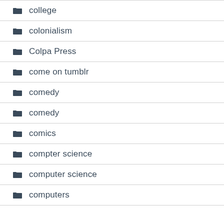college
colonialism
Colpa Press
come on tumblr
comedy
comedy
comics
compter science
computer science
computers